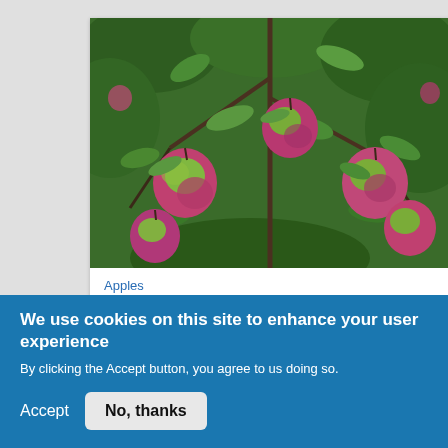[Figure (photo): Close-up photograph of apples growing on tree branches with green leaves. The apples are pink-red and green colored, partially ripe, with multiple apples visible on the branches against a lush green leafy background.]
Apples
Emerging Apples looking strong at Applewood Fresh Growers
We use cookies on this site to enhance your user experience
By clicking the Accept button, you agree to us doing so.
Accept
No, thanks